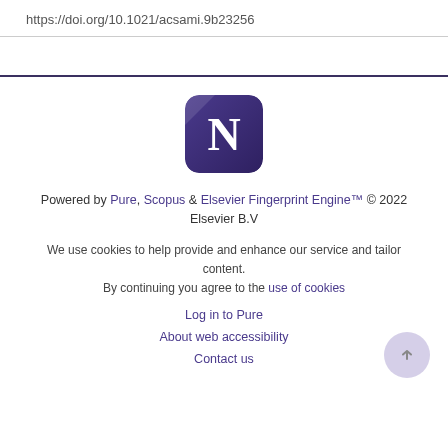https://doi.org/10.1021/acsami.9b23256
[Figure (logo): Notion-style app logo: white letter N on a dark purple rounded square background]
Powered by Pure, Scopus & Elsevier Fingerprint Engine™ © 2022 Elsevier B.V
We use cookies to help provide and enhance our service and tailor content. By continuing you agree to the use of cookies
Log in to Pure
About web accessibility
Contact us